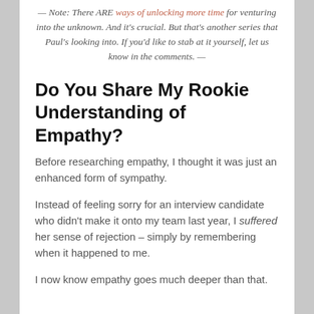— Note: There ARE ways of unlocking more time for venturing into the unknown. And it's crucial. But that's another series that Paul's looking into. If you'd like to stab at it yourself, let us know in the comments. —
Do You Share My Rookie Understanding of Empathy?
Before researching empathy, I thought it was just an enhanced form of sympathy.
Instead of feeling sorry for an interview candidate who didn't make it onto my team last year, I suffered her sense of rejection – simply by remembering when it happened to me.
I now know empathy goes much deeper than that.